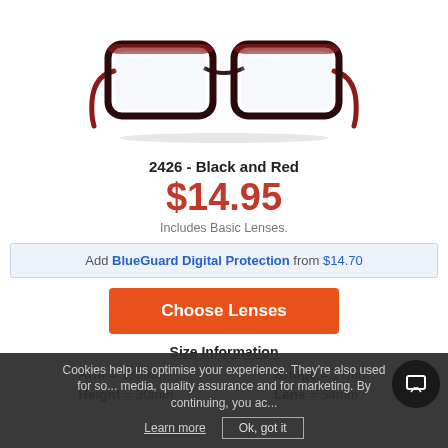[Figure (photo): Product photo of eyeglasses model 2426 in Black and Red color, rectangular frames with red temple arms, viewed from front.]
2426 - Black and Red
$14.95
Includes Basic Lenses.
Add BlueGuard Digital Protection from $14.70
Choose Lenses
Size Information
Arm = 138mm   Bridge = 17mm   Height = 30mm   Lens = 54mm
Cookies help us optimise your experience. They're also used for social media, quality assurance and for marketing. By continuing, you accept this. Learn more   Ok, got it